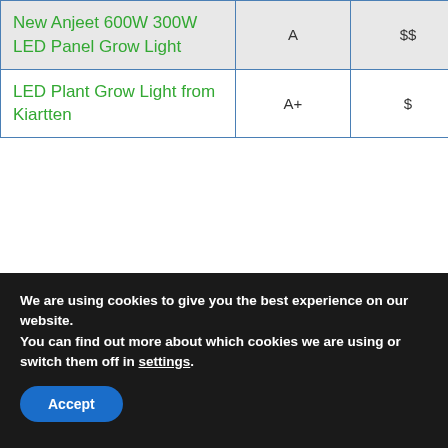| Product | Grade | Price | Rating |
| --- | --- | --- | --- |
| New Anjeet 600W 300W LED Panel Grow Light | A | $$ | ★★½ |
| LED Plant Grow Light from Kiartten | A+ | $ | ★★½ |
We are using cookies to give you the best experience on our website.
You can find out more about which cookies we are using or switch them off in settings.
Accept